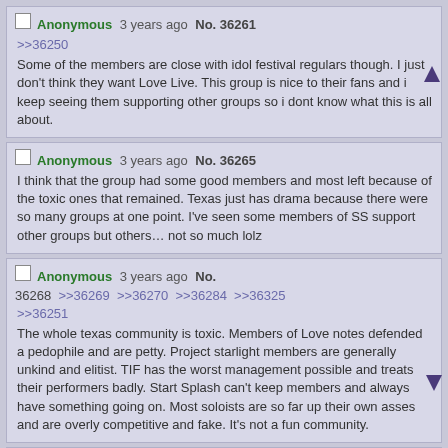Anonymous 3 years ago No. 36261
>>36250
Some of the members are close with idol festival regulars though. I just don't think they want Love Live. This group is nice to their fans and i keep seeing them supporting other groups so i dont know what this is all about.
Anonymous 3 years ago No. 36265
I think that the group had some good members and most left because of the toxic ones that remained. Texas just has drama because there were so many groups at one point. I've seen some members of SS support other groups but others... not so much lolz
Anonymous 3 years ago No. 36268 >>36269 >>36270 >>36284 >>36325
>>36251
The whole texas community is toxic. Members of Love notes defended a pedophile and are petty. Project starlight members are generally unkind and elitist. TIF has the worst management possible and treats their performers badly. Start Splash can't keep members and always have something going on. Most soloists are so far up their own asses and are overly competitive and fake. It's not a fun community.
Anonymous 3 years ago No. 36269